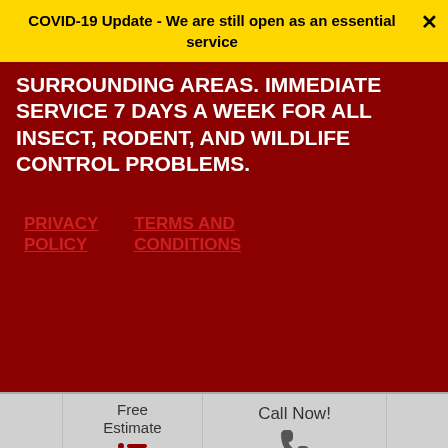COVID-19 Update - We are still open as an essential service
SURROUNDING AREAS. IMMEDIATE SERVICE 7 DAYS A WEEK FOR ALL INSECT, RODENT, AND WILDLIFE CONTROL PROBLEMS.
PRIVACY POLICY
TERMS AND CONDITIONS
Free Estimate
Call Now!